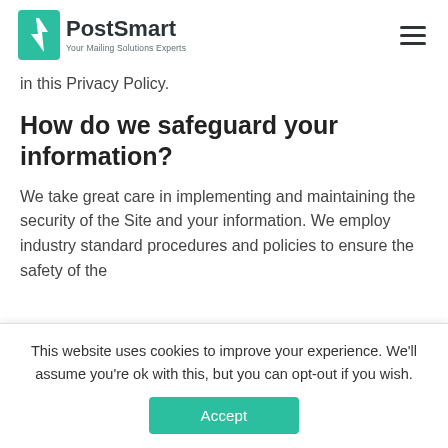PostSmart — Your Mailing Solutions Experts
in this Privacy Policy.
How do we safeguard your information?
We take great care in implementing and maintaining the security of the Site and your information. We employ industry standard procedures and policies to ensure the safety of the
This website uses cookies to improve your experience. We'll assume you're ok with this, but you can opt-out if you wish.
Accept